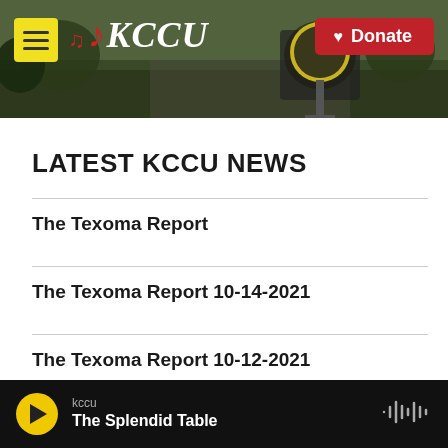[Figure (screenshot): KCCU radio station website header banner with hamburger menu button, KCCU logo with musical notes in red, a college logo/sign in background, and a red Donate button with heart icon]
LATEST KCCU NEWS
The Texoma Report
The Texoma Report 10-14-2021
The Texoma Report 10-12-2021
[Figure (screenshot): Audio player bar showing kccu station name and 'The Splendid Table' show title with play button and waveform icon]